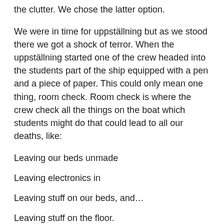the clutter. We chose the latter option.
We were in time for uppställning but as we stood there we got a shock of terror. When the uppställning started one of the crew headed into the students part of the ship equipped with a pen and a piece of paper. This could only mean one thing, room check. Room check is where the crew check all the things on the boat which students might do that could lead to all our deaths, like:
Leaving our beds unmade
Leaving electronics in
Leaving stuff on our beds, and…
Leaving stuff on the floor.
We were aware of our guilt, and of the coming punishment. Panicked, we tried to make up a plan, knowing that if they saw the state of our room we